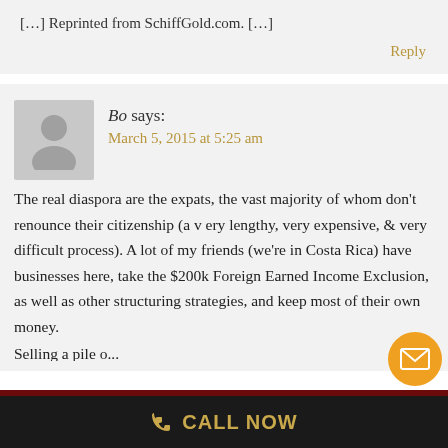[…] Reprinted from SchiffGold.com. […]
Reply
Bo says:
March 5, 2015 at 5:25 am
The real diaspora are the expats, the vast majority of whom don't renounce their citizenship (a very lengthy, very expensive, & very difficult process). A lot of my friends (we're in Costa Rica) have businesses here, take the $200k Foreign Earned Income Exclusion, as well as other structuring strategies, and keep most of their own money.
CALL NOW